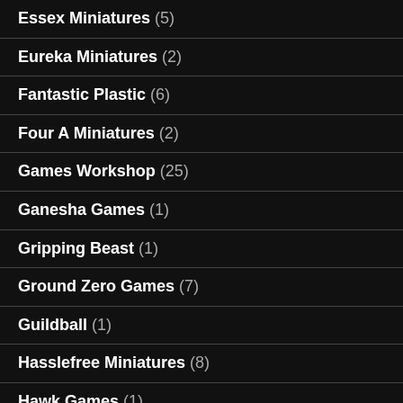Essex Miniatures (5)
Eureka Miniatures (2)
Fantastic Plastic (6)
Four A Miniatures (2)
Games Workshop (25)
Ganesha Games (1)
Gripping Beast (1)
Ground Zero Games (7)
Guildball (1)
Hasslefree Miniatures (8)
Hawk Games (1)
Heroic Maps (1)
Highlander Studios (4)